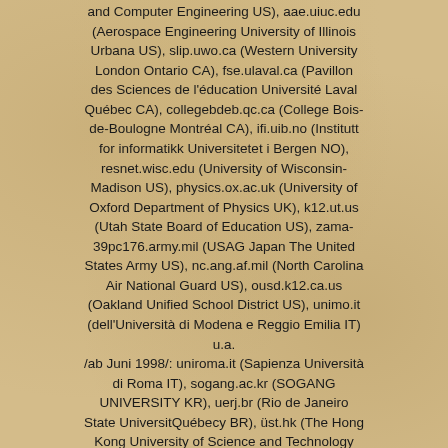and Computer Engineering US), aae.uiuc.edu (Aerospace Engineering University of Illinois Urbana US), slip.uwo.ca (Western University London Ontario CA), fse.ulaval.ca (Pavillon des Sciences de l'éducation Université Laval Québec CA), collegebdeb.qc.ca (College Bois-de-Boulogne Montréal CA), ifi.uib.no (Institutt for informatikk Universitetet i Bergen NO), resnet.wisc.edu (University of Wisconsin-Madison US), physics.ox.ac.uk (University of Oxford Department of Physics UK), k12.ut.us (Utah State Board of Education US), zama-39pc176.army.mil (USAG Japan The United States Army US), nc.ang.af.mil (North Carolina Air National Guard US), ousd.k12.ca.us (Oakland Unified School District US), unimo.it (dell'Università di Modena e Reggio Emilia IT) u.a. /ab Juni 1998/: uniroma.it (Sapienza Università di Roma IT), sogang.ac.kr (SOGANG UNIVERSITY KR), uerj.br (Rio de Janeiro State UniversitQuébecy BR), üst.hk (The Hong Kong University of Science and Technology HK), mec.gov br (Bundesregierung Bildungsministerium BR), epo.nl (NL Octrooicentrum Nederland - Europäisches Patentamzt NL), aemy.mil (United States Army Europe official US), uni-mb.si (University of Maribor SI), cac-labs.psu.edu (CAC Computer Labs At University Park US), informatik.qu.se